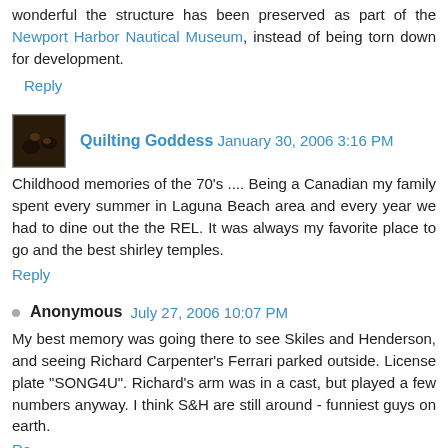wonderful the structure has been preserved as part of the Newport Harbor Nautical Museum, instead of being torn down for development.
Reply
Quilting Goddess  January 30, 2006 3:16 PM
Childhood memories of the 70's .... Being a Canadian my family spent every summer in Laguna Beach area and every year we had to dine out the the REL. It was always my favorite place to go and the best shirley temples.
Reply
Anonymous  July 27, 2006 10:07 PM
My best memory was going there to see Skiles and Henderson, and seeing Richard Carpenter's Ferrari parked outside. License plate "SONG4U". Richard's arm was in a cast, but played a few numbers anyway. I think S&H are still around - funniest guys on earth.
Reply